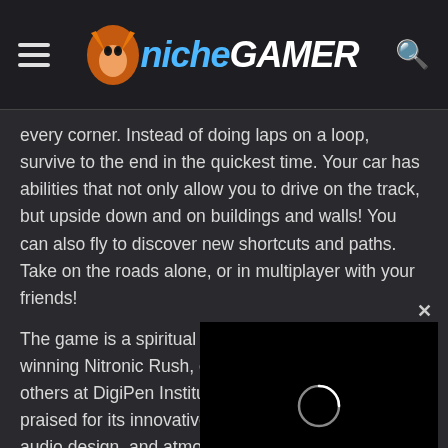Niche Gamer
every corner. Instead of doing laps on a loop, survive to the end in the quickest time. Your car has abilities that not only allow you to drive on the track, but upside down and on buildings and walls! You can also fly to discover new shortcuts and paths. Take on the roads alone, or in multiplayer with your friends!
[Figure (screenshot): Video player overlay with black background and loading spinner circle, with an X close button in the top right corner.]
The game is a spiritual successor to the award-winning Nitronic Rush, created by ourselves and others at DigiPen Institute of Technology. It was praised for its innovative mechanics, visuals, audio design, and atmosphere.
Key Features:
Adventure: A short single player experience. Drive into the heart of a dark, mysterious city as